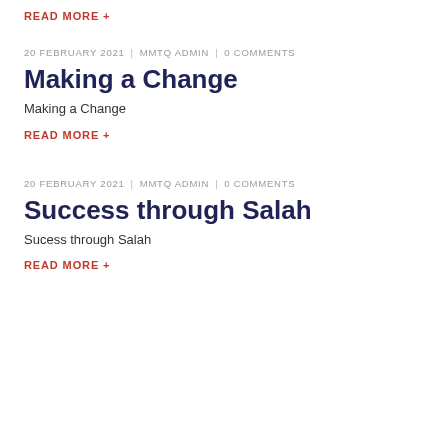READ MORE +
20 FEBRUARY 2021  |  MMTQ ADMIN  |  0 COMMENTS
Making a Change
Making a Change
READ MORE +
20 FEBRUARY 2021  |  MMTQ ADMIN  |  0 COMMENTS
Success through Salah
Sucess through Salah
READ MORE +